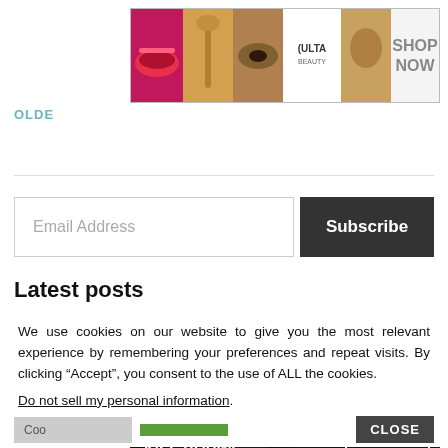[Figure (advertisement): Ulta Beauty banner ad with makeup images (lips, brush, eye), Ulta logo, model face, and SHOP NOW text]
OLDER
Email Address
Subscribe
Latest posts
We use cookies on our website to give you the most relevant experience by remembering your preferences and repeat visits. By clicking “Accept”, you consent to the use of ALL the cookies.
Do not sell my personal information.
CLOSE
[Figure (advertisement): Macy's banner ad with red lips model, KISS BORING LIPS GOODBYE text, SHOP NOW button and Macy's star logo]